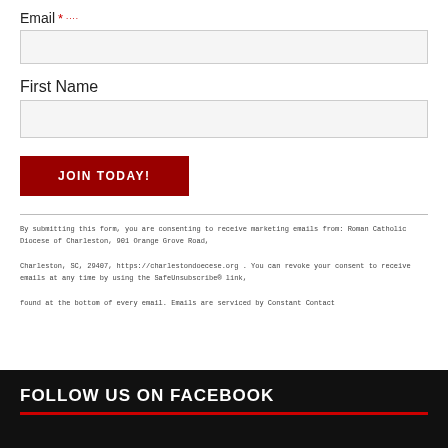Email *
First Name
JOIN TODAY!
By submitting this form, you are consenting to receive marketing emails from: Roman Catholic Diocese of Charleston, 901 Orange Grove Road, Charleston, SC, 29407, https://charlestondoecese.org. You can revoke your consent to receive emails at any time by using the SafeUnsubscribe® link, found at the bottom of every email. Emails are serviced by Constant Contact
FOLLOW US ON FACEBOOK